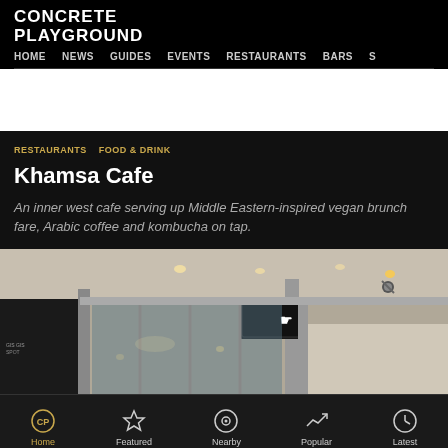CONCRETE PLAYGROUND
HOME   NEWS   GUIDES   EVENTS   RESTAURANTS   BARS   S
[Figure (other): White advertisement/blank space area]
RESTAURANTS   FOOD & DRINK
Khamsa Cafe
An inner west cafe serving up Middle Eastern-inspired vegan brunch fare, Arabic coffee and kombucha on tap.
[Figure (photo): Exterior photo of Khamsa Cafe storefront showing a hanging sign with the Khamsa logo and name, glass shopfront, and ceiling with spotlights]
Home   Featured   Nearby   Popular   Latest